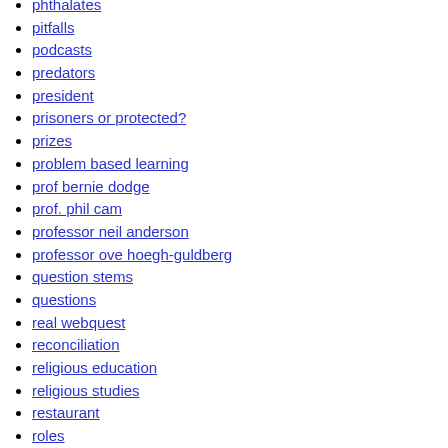phthalates
pitfalls
podcasts
predators
president
prisoners or protected?
prizes
problem based learning
prof bernie dodge
prof. phil cam
professor neil anderson
professor ove hoegh-guldberg
question stems
questions
real webquest
reconciliation
religious education
religious studies
restaurant
roles
room to read
sbs
science
seahorses
shortcut webquest authoring tool